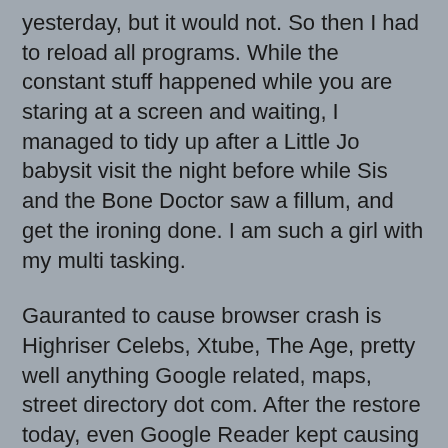yesterday, but it would not. So then I had to reload all programs. While the constant stuff happened while you are staring at a screen and waiting, I managed to tidy up after a Little Jo babysit visit the night before while Sis and the Bone Doctor saw a fillum, and get the ironing done. I am such a girl with my multi tasking.
Gauranted to cause browser crash is Highriser Celebs, Xtube, The Age, pretty well anything Google related, maps, street directory dot com. After the restore today, even Google Reader kept causing a restart.
It is not Spybot, not AVG, not Zone Alarm. It is mainly when web browsing, but not exclusively. Click on something and it may restart. While loading one of the above, it will crash. Offer you help if you know, but I really thing there is something defective. I have been around computers for a long time, and I have an instinct about them now.
Just to wrap, and let me assure you, I am a survivor, dying Step Father wants a radio for his palliative care bedside table. I checked in RetraVision in Chapel Street and prices were high. I liked dealing with the old Jewish owners who